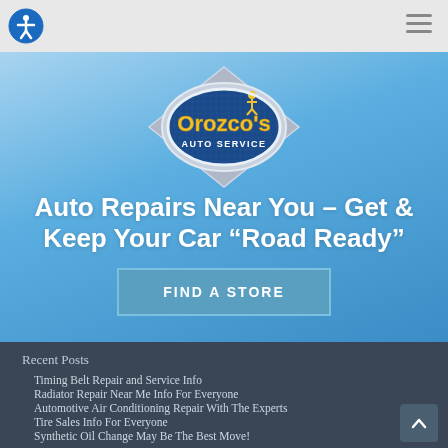[Figure (logo): Orozco's Auto Service logo — oval chrome badge with blue background, yellow 'Orozco's' text and silver mechanic figure, 'AUTO SERVICE' text below]
Auto Repairs Near You – Get & Keep Your Car “Road Ready”
FIND A STORE
Recent Posts
Timing Belt Repair and Service Info
Radiator Repair Near Me Info For Everyone
Automotive Air Conditioning Repair With The Experts
Tire Sales Info For Everyone
Synthetic Oil Change May Be The Best Move!